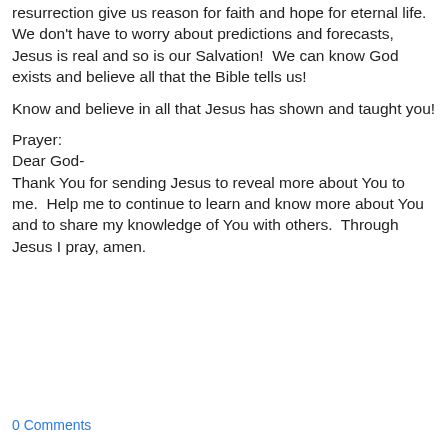resurrection give us reason for faith and hope for eternal life.  We don't have to worry about predictions and forecasts, Jesus is real and so is our Salvation!  We can know God exists and believe all that the Bible tells us!
Know and believe in all that Jesus has shown and taught you!
Prayer:
Dear God-
Thank You for sending Jesus to reveal more about You to me.  Help me to continue to learn and know more about You and to share my knowledge of You with others.  Through Jesus I pray, amen.
0 Comments